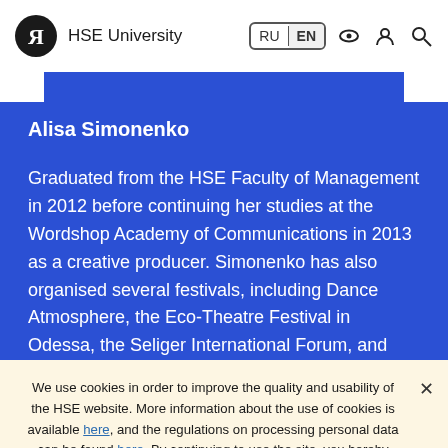HSE University
Alisa Simonenko
Graduated from the HSE Faculty of Management in 2012 before continuing her studies at the Wordshop Academy of Communications in 2013 as a creative producer. Simonenko has also organised several festivals, including Dance Atmosphere, the Eco-Theatre Festival in Odessa, the Seliger International Forum, and
We use cookies in order to improve the quality and usability of the HSE website. More information about the use of cookies is available here, and the regulations on processing personal data can be found here. By continuing to use the site, you hereby confirm that you have been informed of the use of cookies by the HSE website and agree with our rules for processing personal data. You may disable cookies in your browser settings.